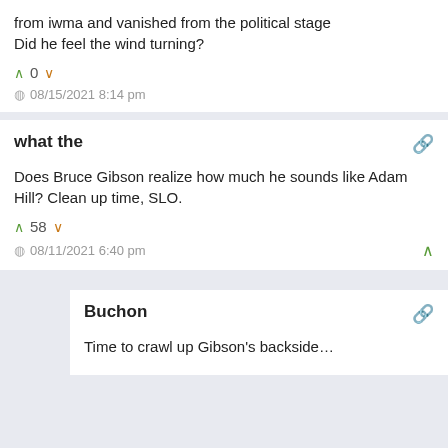from iwma and vanished from the political stage
Did he feel the wind turning?
0
08/15/2021 8:14 pm
what the
Does Bruce Gibson realize how much he sounds like Adam Hill? Clean up time, SLO.
58
08/11/2021 6:40 pm
Buchon
Time to crawl up Gibson's backside…